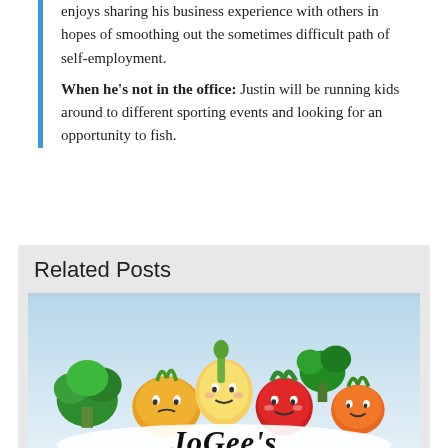enjoys sharing his business experience with others in hopes of smoothing out the sometimes difficult path of self-employment. When he's not in the office: Justin will be running kids around to different sporting events and looking for an opportunity to fish.
Related Posts
[Figure (illustration): JoGee's Juice Bar logo: cartoon kawaii-style vegetables (broccoli, turnip, onion, pear/banana figure, beet, carrot, asparagus, broccoli) arranged above a cursive 'JoGee's' text logo on a light blue-to-white gradient background.]
JoGee's Juice Bar [Success Story]